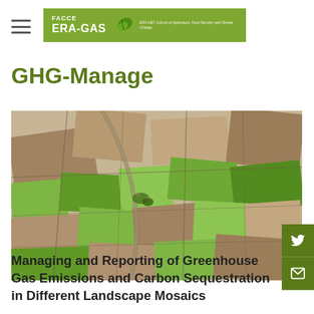FACCE ERA-GAS
GHG-Manage
[Figure (photo): Aerial photograph of agricultural landscape showing patchwork of fields in different colours — brown ploughed soil, green crops — viewed from above at an angle.]
Managing and Reporting of Greenhouse Gas Emissions and Carbon Sequestration in Different Landscape Mosaics